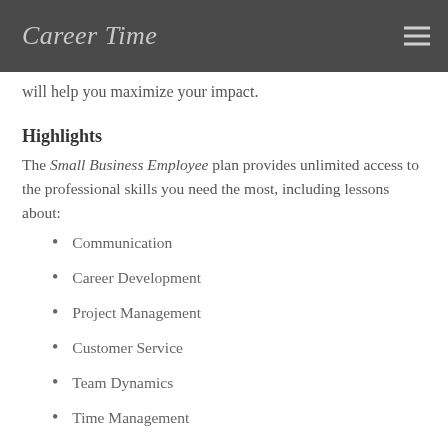Career Time
will help you maximize your impact.
Highlights
The Small Business Employee plan provides unlimited access to the professional skills you need the most, including lessons about:
Communication
Career Development
Project Management
Customer Service
Team Dynamics
Time Management
300+ Lessons
Each membership includes over 300 lessons, and new lessons are added regularly. Given the varied roles you